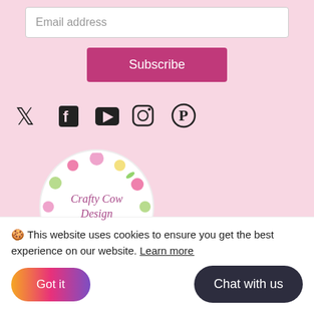Email address
Subscribe
[Figure (illustration): Social media icons: Twitter, Facebook, YouTube, Instagram, Pinterest]
[Figure (logo): Crafty Cow Design circular floral logo with text 'Crafty Cow Design' in pink italic script]
Home
Shop
🍪 This website uses cookies to ensure you get the best experience on our website. Learn more
Got it
Chat with us